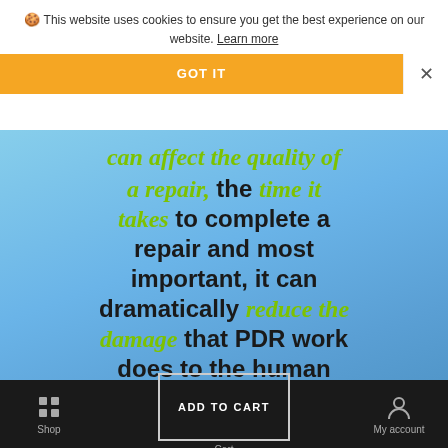🍪 This website uses cookies to ensure you get the best experience on our website. Learn more
GOT IT
[Figure (screenshot): Blue sky background with large bold text overlay reading: can affect the quality of a repair, the time it takes to complete a repair and most important, it can dramatically reduce the damage that PDR work does to the human. Some phrases in green italic script font: 'a repair', 'time it takes', 'reduce the damage'.]
Shop  ADD TO CART  Cart  My account